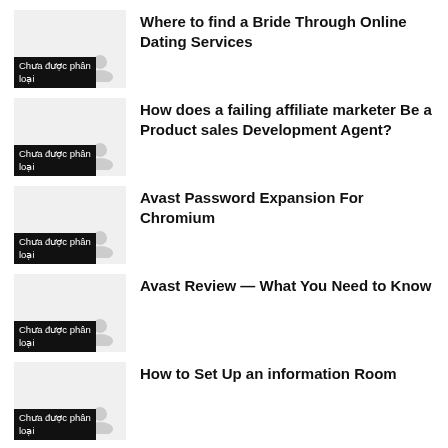[Figure (illustration): Thumbnail image placeholder with category label 'Chưa được phân loại']
Where to find a Bride Through Online Dating Services
[Figure (illustration): Thumbnail image placeholder with category label 'Chưa được phân loại']
How does a failing affiliate marketer Be a Product sales Development Agent?
[Figure (illustration): Thumbnail image placeholder with category label 'Chưa được phân loại']
Avast Password Expansion For Chromium
[Figure (illustration): Thumbnail image placeholder with category label 'Chưa được phân loại']
Avast Review — What You Need to Know
[Figure (illustration): Thumbnail image placeholder with category label 'Chưa được phân loại']
How to Set Up an information Room